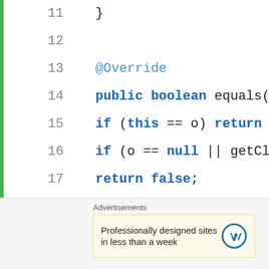[Figure (screenshot): Java code editor screenshot showing lines 11-27 of a PersonDTO equals() method implementation, with line 25 highlighted in green, and an advertisement banner at the bottom for WordPress site design.]
Advertisements
Professionally designed sites in less than a week